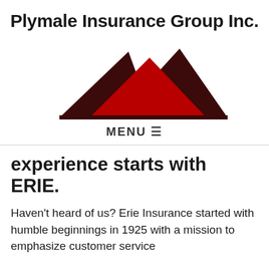Plymale Insurance Group Inc.
[Figure (logo): Three overlapping mountain/triangle shapes in dark maroon and bright red, forming a stylized logo for Plymale Insurance Group / Erie Insurance.]
MENU ☰
experience starts with ERIE.
Haven't heard of us? Erie Insurance started with humble beginnings in 1925 with a mission to emphasize customer service